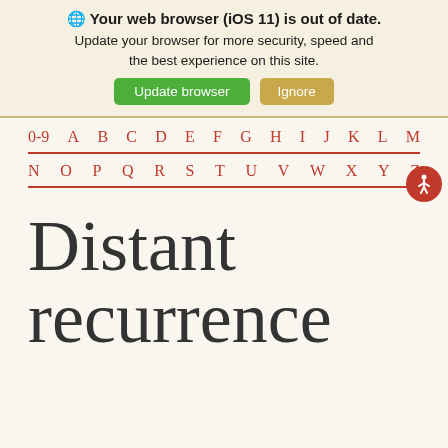Your web browser (iOS 11) is out of date. Update your browser for more security, speed and the best experience on this site. Update browser | Ignore
0-9  A  B  C  D  E  F  G  H  I  J  K  L  M
N  O  P  Q  R  S  T  U  V  W  X  Y  Z
Distant recurrence